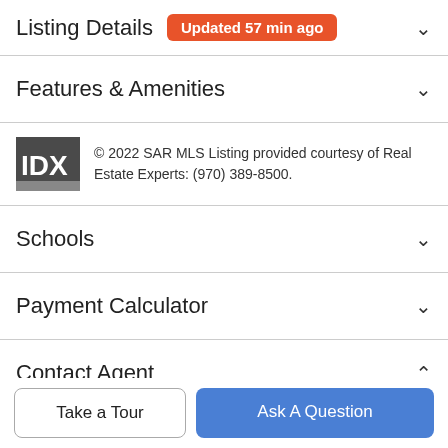Listing Details Updated 57 min ago
Features & Amenities
© 2022 SAR MLS Listing provided courtesy of Real Estate Experts: (970) 389-8500.
Schools
Payment Calculator
Contact Agent
[Figure (photo): Circular profile photo of a smiling woman with blonde hair]
Take a Tour
Ask A Question